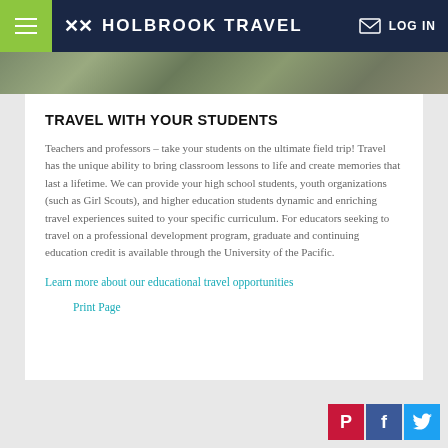HOLBROOK TRAVEL — LOG IN
TRAVEL WITH YOUR STUDENTS
Teachers and professors – take your students on the ultimate field trip! Travel has the unique ability to bring classroom lessons to life and create memories that last a lifetime. We can provide your high school students, youth organizations (such as Girl Scouts), and higher education students dynamic and enriching travel experiences suited to your specific curriculum. For educators seeking to travel on a professional development program, graduate and continuing education credit is available through the University of the Pacific.
Learn more about our educational travel opportunities
Print Page